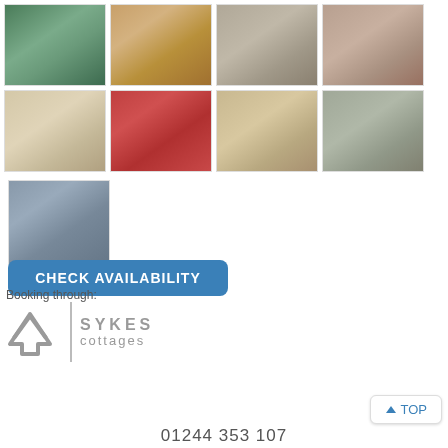[Figure (photo): Grid of 9 cottage photos showing interior and exterior views]
CHECK AVAILABILITY
Booking through:
[Figure (logo): Sykes Cottages logo with mountain icon and text]
TOP
01244 353 107